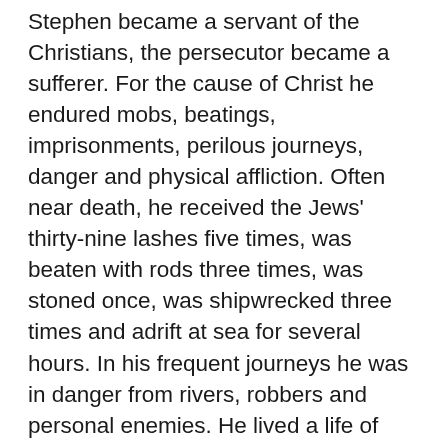Stephen became a servant of the Christians, the persecutor became a sufferer. For the cause of Christ he endured mobs, beatings, imprisonments, perilous journeys, danger and physical affliction. Often near death, he received the Jews' thirty-nine lashes five times, was beaten with rods three times, was stoned once, was shipwrecked three times and adrift at sea for several hours. In his frequent journeys he was in danger from rivers, robbers and personal enemies. He lived a life of hardship and labor, working for a living with his hands, having many sleepless nights. Hungry, thirsty, homeless and ill clad in cold and exposure, he was a spectacle to the world, an exhibition of weakness and disrepute, a fool for Christ, the refuse of the world, so that the Risen Christ could be manifested through him. Although he was reviled, slandered, treated as an impostor, ignored by some, punished by others, held in disrepute by many, his heaviest sufferings were his anguish for his unbelieving Jewish brethren and his anxiety for the spiritual welfare of